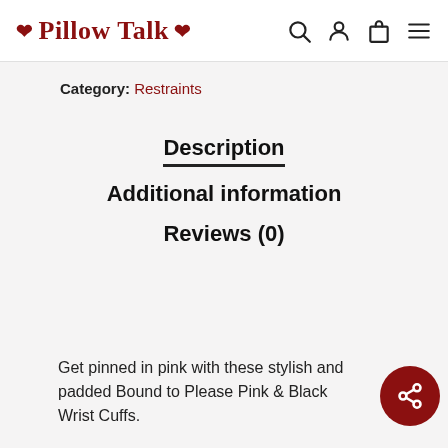❤ Pillow Talk ❤
Category: Restraints
Description
Additional information
Reviews (0)
Get pinned in pink with these stylish and padded Bound to Please Pink & Black Wrist Cuffs.